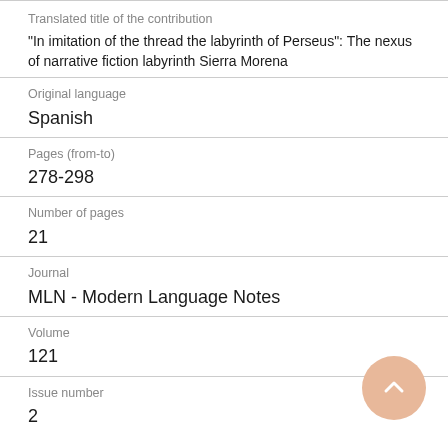Translated title of the contribution
"In imitation of the thread the labyrinth of Perseus": The nexus of narrative fiction labyrinth Sierra Morena
Original language
Spanish
Pages (from-to)
278-298
Number of pages
21
Journal
MLN - Modern Language Notes
Volume
121
Issue number
2